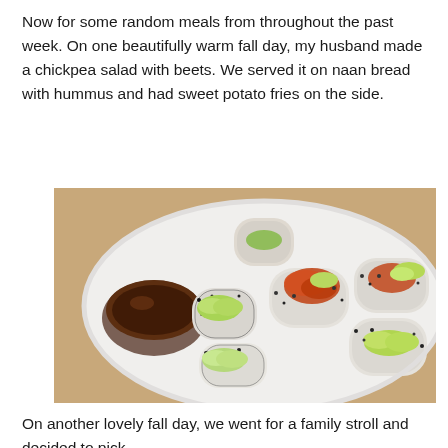Now for some random meals from throughout the past week. On one beautifully warm fall day, my husband made a chickpea salad with beets. We served it on naan bread with hummus and had sweet potato fries on the side.
[Figure (photo): Photo of sushi rolls with avocado on a white plate with a small bowl of soy sauce]
On another lovely fall day, we went for a family stroll and decided to pick